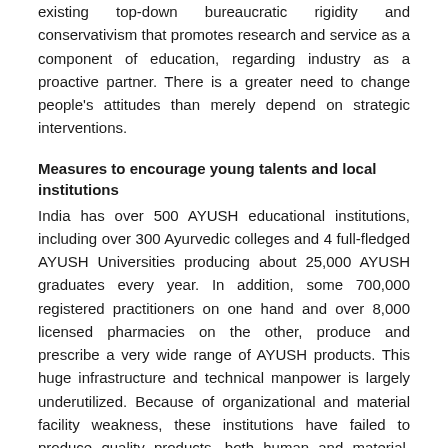existing top-down bureaucratic rigidity and conservativism that promotes research and service as a component of education, regarding industry as a proactive partner. There is a greater need to change people's attitudes than merely depend on strategic interventions.
Measures to encourage young talents and local institutions
India has over 500 AYUSH educational institutions, including over 300 Ayurvedic colleges and 4 full-fledged AYUSH Universities producing about 25,000 AYUSH graduates every year. In addition, some 700,000 registered practitioners on one hand and over 8,000 licensed pharmacies on the other, produce and prescribe a very wide range of AYUSH products. This huge infrastructure and technical manpower is largely underutilized. Because of organizational and material facility weakness, these institutions have failed to produce quality products, both human and material. This infrastructure needs immediate strengthening, financially, socially, and technically. Also, policies and plans are needed to make it useable, and to utilize the same in the public interest. AYUSH should be rapidly mainstreamed into the National Health Care Program.